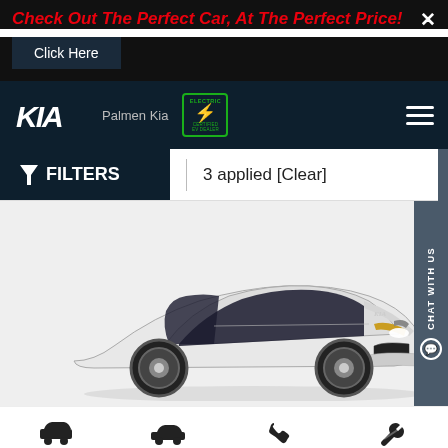Check Out The Perfect Car, At The Perfect Price!
Click Here
[Figure (logo): Kia logo with 'Palmen Kia' dealer name and EV certified badge]
FILTERS  |  3 applied  [Clear]
[Figure (photo): White Kia K5 sedan on a light gray background, front three-quarter view]
New
Used
Call
Service